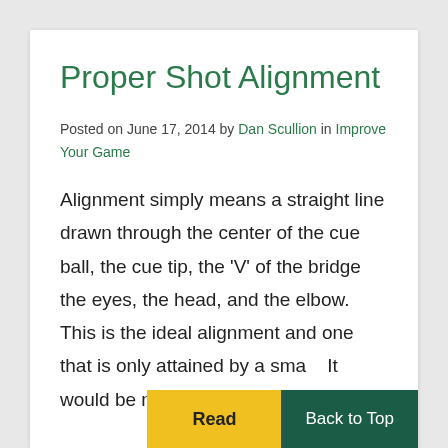Proper Shot Alignment
Posted on June 17, 2014  by Dan Scullion  in Improve Your Game
Alignment simply means a straight line drawn through the center of the cue ball, the cue tip, the 'V' of the bridge the eyes, the head, and the elbow. This is the ideal alignment and one that is only attained by a sma    It would be nice to [...]